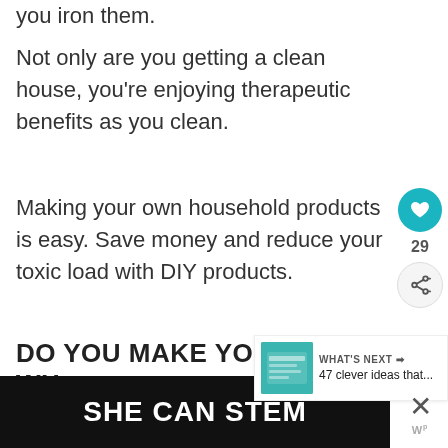you iron them.
Not only are you getting a clean house, you’re enjoying therapeutic benefits as you clean.
Making your own household products is easy. Save money and reduce your toxic load with DIY products.
DO YOU MAKE YOUR OWN HOUSEHOLD PRODUCTS? WH... YOUR FAVOURITE BENEFIT?
[Figure (screenshot): SHE CAN STEM advertisement banner with dark background]
[Figure (infographic): What's Next box with thumbnail and text: 47 clever ideas that...]
[Figure (other): Social sidebar with heart button (teal), 29 likes, and share button]